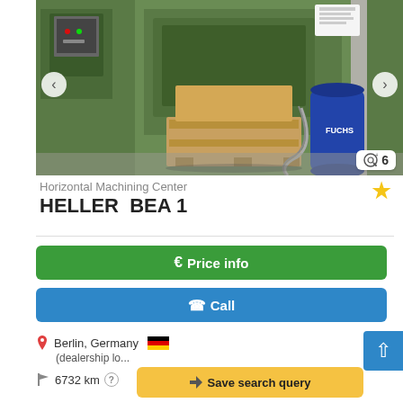[Figure (photo): Photo of a HELLER BEA 1 Horizontal Machining Center in industrial setting, green machine with wooden pallet and blue drum visible, image carousel with left/right arrows]
6
Horizontal Machining Center
HELLER  BEA 1
€ Price info
✆ Call
Berlin, Germany
(dealership lo...
6732 km
⬆ Save search query